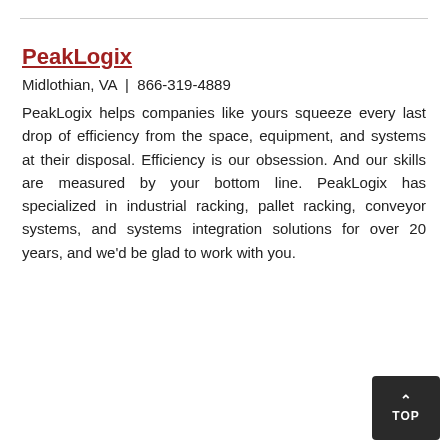PeakLogix
Midlothian, VA  |  866-319-4889
PeakLogix helps companies like yours squeeze every last drop of efficiency from the space, equipment, and systems at their disposal. Efficiency is our obsession. And our skills are measured by your bottom line. PeakLogix has specialized in industrial racking, pallet racking, conveyor systems, and systems integration solutions for over 20 years, and we'd be glad to work with you.